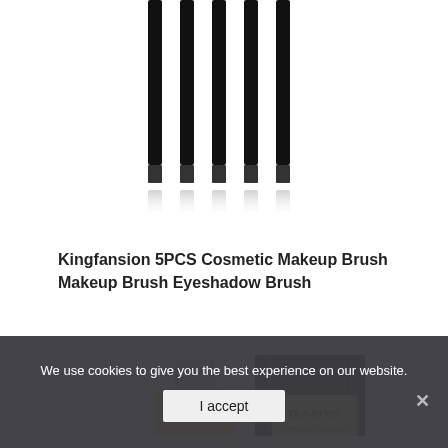[Figure (photo): Five black makeup brushes standing upright with reflections on white background]
Kingfansion 5PCS Cosmetic Makeup Brush Makeup Brush Eyeshadow Brush
[Figure (photo): Tea Rose perfume bottle (yellow glass, silver cap) next to dark striped box with Tea Rose label]
We use cookies to give you the best experience on our website.
I accept